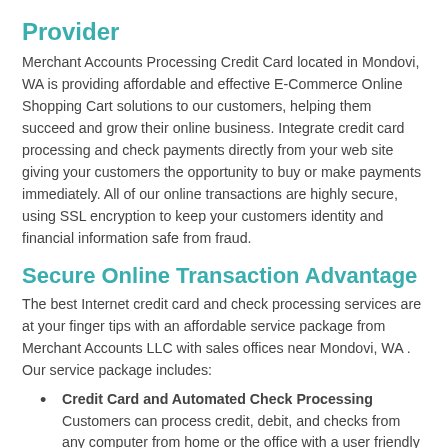Provider
Merchant Accounts Processing Credit Card located in Mondovi, WA is providing affordable and effective E-Commerce Online Shopping Cart solutions to our customers, helping them succeed and grow their online business. Integrate credit card processing and check payments directly from your web site giving your customers the opportunity to buy or make payments immediately. All of our online transactions are highly secure, using SSL encryption to keep your customers identity and financial information safe from fraud.
Secure Online Transaction Advantage
The best Internet credit card and check processing services are at your finger tips with an affordable service package from Merchant Accounts LLC with sales offices near Mondovi, WA . Our service package includes:
Credit Card and Automated Check Processing Customers can process credit, debit, and checks from any computer from home or the office with a user friendly online format that is user name and password protected.
Accepting All Major Credit Cards Customers will enjoy the option of payment by American Express, Visa, Master Card, Discover Card and many more credit purchasing options